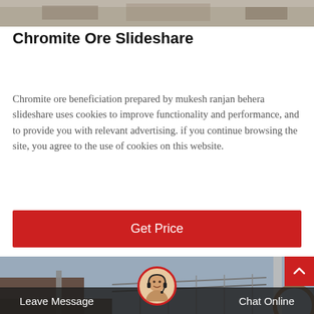[Figure (photo): Top partial image of an industrial or mining scene]
Chromite Ore Slideshare
Chromite ore beneficiation prepared by mukesh ranjan behera slideshare uses cookies to improve functionality and performance, and to provide you with relevant advertising. if you continue browsing the site, you agree to the use of cookies on this website.
[Figure (screenshot): Get Price button - red call-to-action button]
[Figure (photo): Bottom industrial/mining facility photo with overhead structure and equipment]
Leave Message   Chat Online